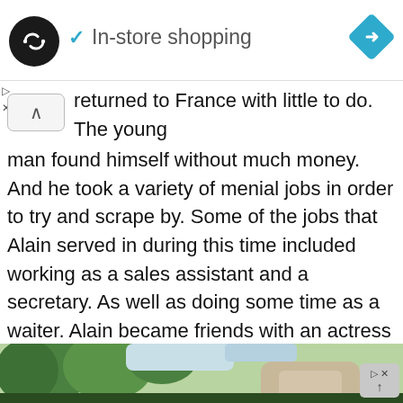In-store shopping
returned to France with little to do. The young man found himself without much money. And he took a variety of menial jobs in order to try and scrape by. Some of the jobs that Alain served in during this time included working as a sales assistant and a secretary. As well as doing some time as a waiter. Alain became friends with an actress by the name of Brigitte Auber during this time period. And it was Brigitte that inevitably led Alain on the pathway towards becoming a star when she invited him to attend Cannes.
[Figure (photo): Bottom portion of page showing a partially visible outdoor scene with trees and possibly a person, cropped at the bottom of the viewport]